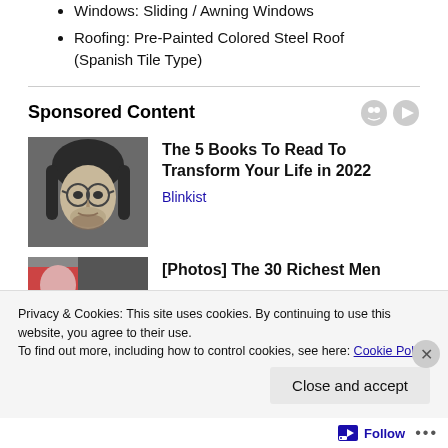Windows: Sliding / Awning Windows
Roofing: Pre-Painted Colored Steel Roof (Spanish Tile Type)
Sponsored Content
[Figure (photo): Black and white portrait photo of a young man with long hair and round glasses]
The 5 Books To Read To Transform Your Life in 2022
Blinkist
[Figure (photo): Partial color photo, cropped]
[Photos] The 30 Richest Men
Privacy & Cookies: This site uses cookies. By continuing to use this website, you agree to their use.
To find out more, including how to control cookies, see here: Cookie Policy
Close and accept
Follow ...